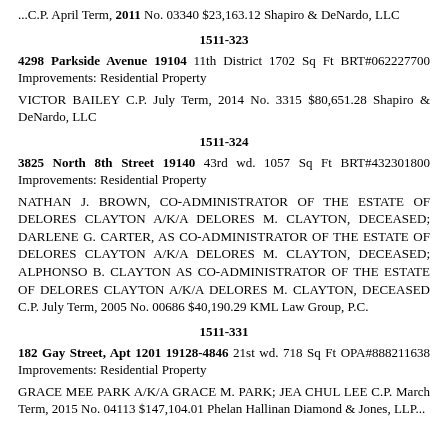...C.P. April Term, 2011 No. 03340 $23,163.12 Shapiro & DeNardo, LLC
1511-323
4298 Parkside Avenue 19104 11th District 1702 Sq Ft BRT#062227700 Improvements: Residential Property
VICTOR BAILEY C.P. July Term, 2014 No. 3315 $80,651.28 Shapiro & DeNardo, LLC
1511-324
3825 North 8th Street 19140 43rd wd. 1057 Sq Ft BRT#432301800 Improvements: Residential Property
NATHAN J. BROWN, CO-ADMINISTRATOR OF THE ESTATE OF DELORES CLAYTON A/K/A DELORES M. CLAYTON, DECEASED; DARLENE G. CARTER, AS CO-ADMINISTRATOR OF THE ESTATE OF DELORES CLAYTON A/K/A DELORES M. CLAYTON, DECEASED; ALPHONSO B. CLAYTON AS CO-ADMINISTRATOR OF THE ESTATE OF DELORES CLAYTON A/K/A DELORES M. CLAYTON, DECEASED C.P. July Term, 2005 No. 00686 $40,190.29 KML Law Group, P.C.
1511-331
182 Gay Street, Apt 1201 19128-4846 21st wd. 718 Sq Ft OPA#888211638 Improvements: Residential Property
GRACE MEE PARK A/K/A GRACE M. PARK; JEA CHUL LEE C.P. March Term, 2015 No. 04113 $147,104.01 Phelan Hallinan Diamond & Jones, LLP...